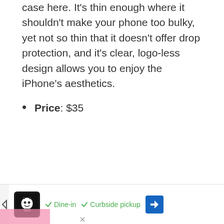case here. It's thin enough where it shouldn't make your phone too bulky, yet not so thin that it doesn't offer drop protection, and it's clear, logo-less design allows you to enjoy the iPhone's aesthetics.
Price: $35
[Figure (other): Advertisement bar at the bottom of the page showing a restaurant ad with a cartoon icon, checkmarks for Dine-in and Curbside pickup, and a blue navigation arrow icon.]